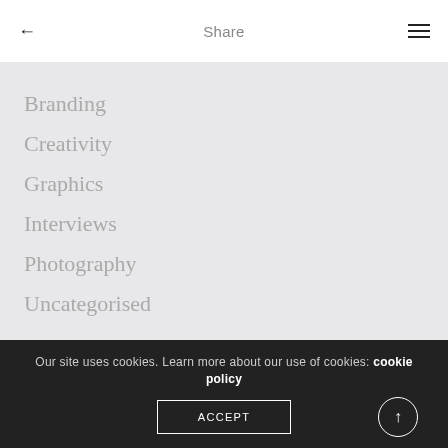Share
Branding
Creativity
Graphics
Interviews
Photography
Uncategorised
META
Log in
Entries feed
Our site uses cookies. Learn more about our use of cookies: cookie policy
ACCEPT